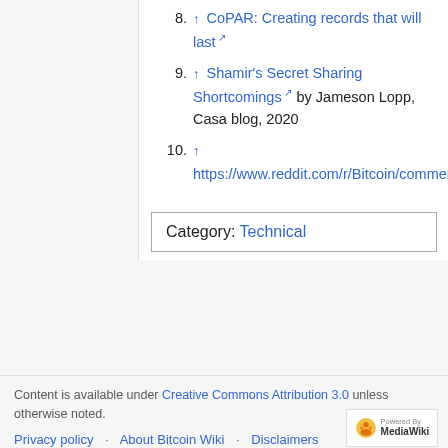8. ↑ CoPAR: Creating records that will last
9. ↑ Shamir's Secret Sharing Shortcomings by Jameson Lopp, Casa blog, 2020
10. ↑ https://www.reddit.com/r/Bitcoin/comments/2hmnru/poll_do_you_use_paper_wallets_why_why_not_what/
| Category:  Technical |
Content is available under Creative Commons Attribution 3.0 unless otherwise noted.
Privacy policy   About Bitcoin Wiki   Disclaimers